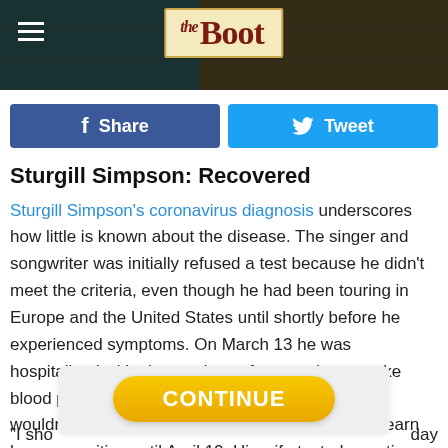[Figure (screenshot): The Boot website header banner with logo and hamburger menu icon]
Share  Tweet
Sturgill Simpson: Recovered
Sturgill Simpson's coronavirus diagnosis underscores how little is known about the disease. The singer and songwriter was initially refused a test because he didn't meet the criteria, even though he had been touring in Europe and the United States until shortly before he experienced symptoms. On March 13 he was hospitalized with chest pains, a fever and pre-stroke blood pressure levels and eventually released. He wouldn't get an actual test until April 6, and didn't learn he was positive until April 10. His wife tested negative.
[Figure (other): CONTINUE button overlay]
"I sho... ...day